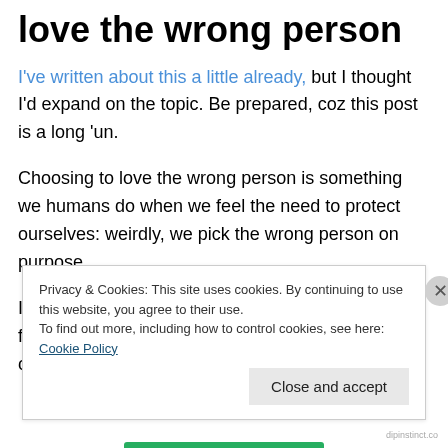love the wrong person
I've written about this a little already, but I thought I'd expand on the topic. Be prepared, coz this post is a long 'un.
Choosing to love the wrong person is something we humans do when we feel the need to protect ourselves: weirdly, we pick the wrong person on purpose.
It's meant to be a way of keeping our hearts safe from future emotional devastation. But it's a trap. It only works
Privacy & Cookies: This site uses cookies. By continuing to use this website, you agree to their use. To find out more, including how to control cookies, see here: Cookie Policy
Close and accept